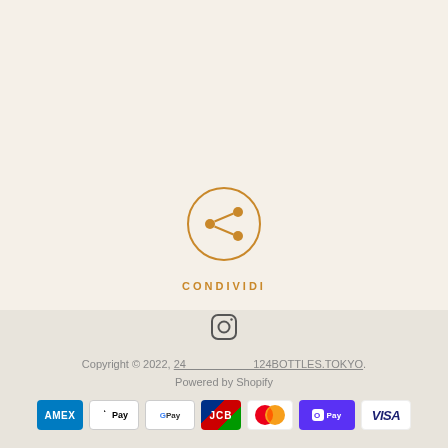[Figure (illustration): Share icon: a circle with a share/network symbol inside, in orange/amber color]
CONDIVIDI
[Figure (illustration): Instagram icon (camera outline) in dark color]
Copyright © 2022, 24___________124BOTTLES.TOKYO.
Powered by Shopify
[Figure (illustration): Payment method logos: AMEX, Apple Pay, Google Pay, JCB, Mastercard, Shop Pay, VISA]